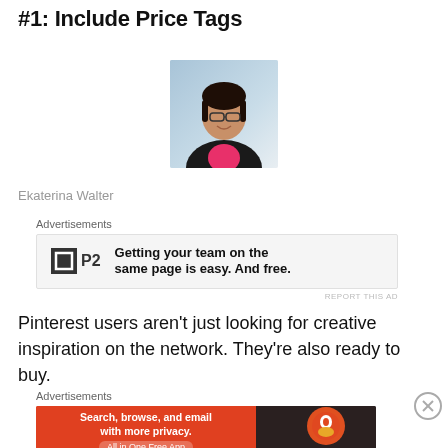#1: Include Price Tags
[Figure (photo): Headshot photo of a woman with dark hair, glasses, wearing a black jacket and pink top, against a light blue background]
Ekaterina Walter
[Figure (other): Advertisement banner for P2: 'Getting your team on the same page is easy. And free.']
Pinterest users aren’t just looking for creative inspiration on the network. They’re also ready to buy.
[Figure (other): Advertisement banner for DuckDuckGo: 'Search, browse, and email with more privacy. All in One Free App']